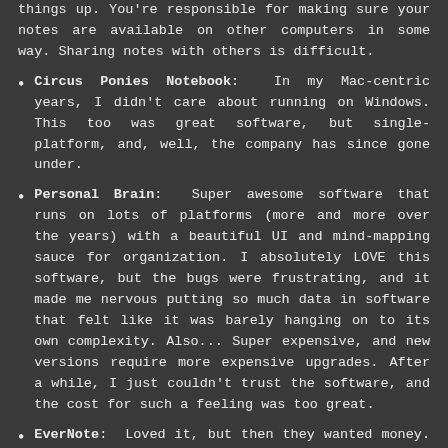things up. You're responsible for making sure your notes are available on other computers in some way. Sharing notes with others is difficult.
Circus Ponies Notebook: In my Mac-centric years, I didn't care about running on Windows. This too was great software, but single-platform, and, well, the company has since gone under.
Personal Brain: Super awesome software that runs on lots of platforms (more and more over the years) with a beautiful UI and mind-mapping sauce for organization. I absolutely LOVE this software, but the bugs were frustrating, and it made me nervous putting so much data in software that felt like it was barely hanging on to its own complexity. Also... Super expensive, and new versions require more expensive upgrades. After a while, I just couldn't trust the software, and the cost for such a feeling was too great.
EverNote: Loved it, but then they wanted money. I totally sympathize... I code for a living, and I don't really understand why there is so much free software out there. That being said, given finite amounts of cash, I always search for the free tools before bumping up to a paid tool.
Microsoft OneNote: My go-to it for the most f...